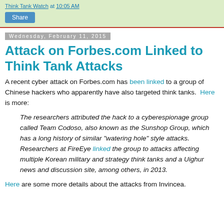Think Tank Watch at 10:05 AM
Share
Wednesday, February 11, 2015
Attack on Forbes.com Linked to Think Tank Attacks
A recent cyber attack on Forbes.com has been linked to a group of Chinese hackers who apparently have also targeted think tanks. Here is more:
The researchers attributed the hack to a cyberespionage group called Team Codoso, also known as the Sunshop Group, which has a long history of similar "watering hole" style attacks. Researchers at FireEye linked the group to attacks affecting multiple Korean military and strategy think tanks and a Uighur news and discussion site, among others, in 2013.
Here are some more details about the attacks from Invincea.